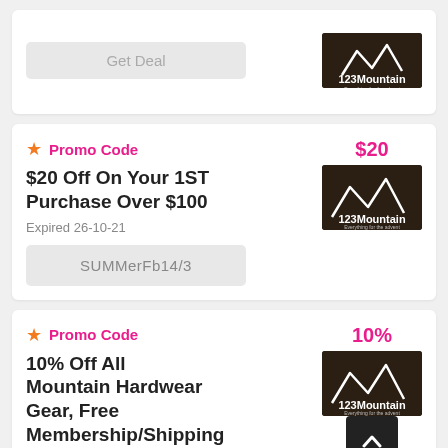[Figure (other): Partial coupon card with Get Deal button and 123Mountain logo]
Promo Code
$20 Off On Your 1ST Purchase Over $100
Expired 26-10-21
SUMMerFb14/3
Promo Code
10% Off All Mountain Hardwear Gear, Free Membership/Shipping With Coupon Code HARD WEAR
Expired 26-10-21
MOUNTAIN